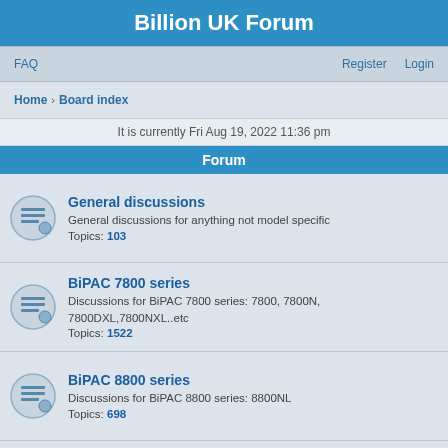Billion UK Forum
FAQ   Register   Login
Home › Board index
It is currently Fri Aug 19, 2022 11:36 pm
Forum
General discussions
General discussions for anything not model specific
Topics: 103
BiPAC 7800 series
Discussions for BiPAC 7800 series: 7800, 7800N, 7800DXL,7800NXL..etc
Topics: 1522
BiPAC 8800 series
Discussions for BiPAC 8800 series: 8800NL
Topics: 698
BiPAC 8900 series
Discussions for BiPAC 8900 series: 8900AX-1600, 8900AX-2400, 8900X
Topics: 298
BiPAC 7402 series
Discussion for BiPAC 7402 series: 7402, 7402G, 7402X, 7402GX, 7402NX..etc
Topics: 54